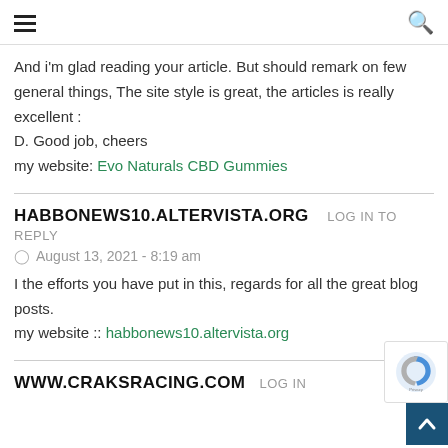☰  🔍
And i'm glad reading your article. But should remark on few general things, The site style is great, the articles is really excellent : D. Good job, cheers my website: Evo Naturals CBD Gummies
HABBONEWS10.ALTERVISTA.ORG   LOG IN TO REPLY
August 13, 2021 - 8:19 am
I the efforts you have put in this, regards for all the great blog posts. my website :: habbonews10.altervista.org
WWW.CRAKSRACING.COM   LOG IN TO REPLY